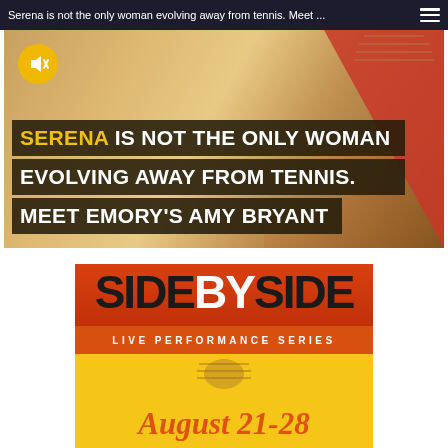Serena is not the only woman evolving away from tennis. Meet ...
[Figure (screenshot): Video thumbnail of a tennis court background with text overlay reading: SERENA IS NOT THE ONLY WOMAN EVOLVING AWAY FROM TENNIS. MEET EMORY'S AMY BRYANT. A yellow mute button appears in the top left.]
[Figure (illustration): Side By Side Live Performance Series advertisement poster with yellow/orange background. Text reads: SIDE BY SIDE, LIVE PERFORMANCE SERIES, August 21-28. Features a microphone graphic.]